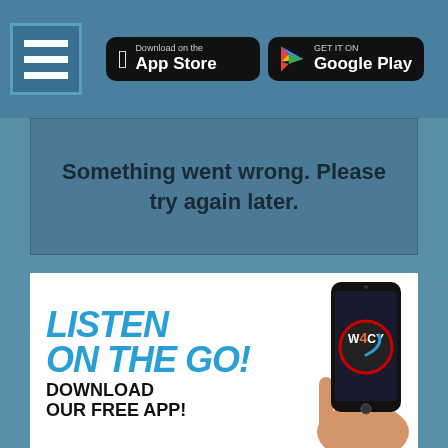[Figure (screenshot): Navigation bar with hamburger menu icon on the left, and App Store and Google Play download buttons on the right, on a blue background]
Something went wrong. Please try again later.
[Figure (infographic): Advertisement banner: LISTEN ON THE GO! DOWNLOAD OUR FREE APP! with a hand holding a smartphone showing W4CY app logo]